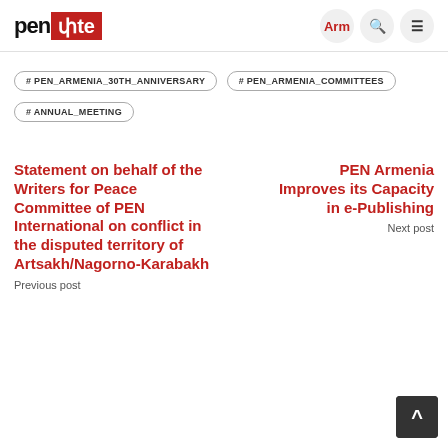pen փte — Arm
# PEN_ARMENIA_30TH_ANNIVERSARY
# PEN_ARMENIA_COMMITTEES
# ANNUAL_MEETING
Statement on behalf of the Writers for Peace Committee of PEN International on conflict in the disputed territory of Artsakh/Nagorno-Karabakh
Previous post
PEN Armenia Improves its Capacity in e-Publishing
Next post